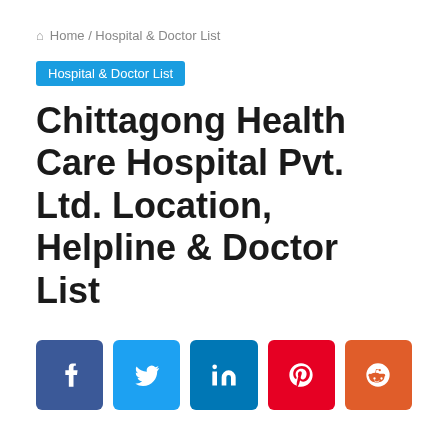🏠 Home / Hospital & Doctor List
Hospital & Doctor List
Chittagong Health Care Hospital Pvt. Ltd. Location, Helpline & Doctor List
[Figure (infographic): Social media share buttons: Facebook, Twitter, LinkedIn, Pinterest, Reddit]